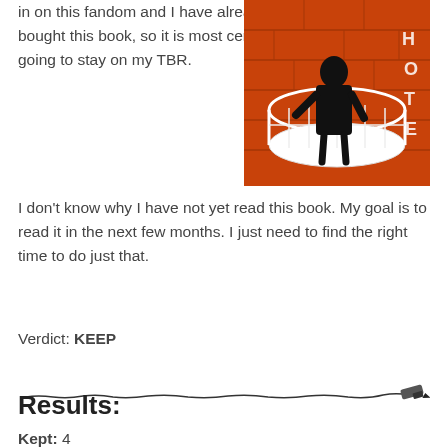in on this fandom and I have already bought this book, so it is most certainly going to stay on my TBR.
[Figure (illustration): Book cover illustration showing a dark silhouetted figure standing in a white basket or bowl, surrounded by orange-red fiery or brick background, with partial letters H, O, T, E visible on the right side.]
I don't know why I have not yet read this book. My goal is to read it in the next few months. I just need to find the right time to do just that.
Verdict: KEEP
[Figure (illustration): A hand-drawn horizontal divider line with a pen or marker at the right end, as if drawing the line.]
Results:
Kept: 4